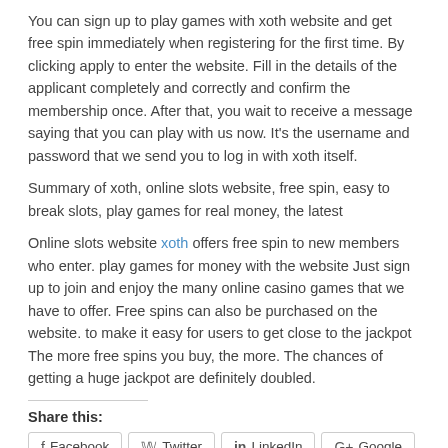You can sign up to play games with xoth website and get free spin immediately when registering for the first time. By clicking apply to enter the website. Fill in the details of the applicant completely and correctly and confirm the membership once. After that, you wait to receive a message saying that you can play with us now. It's the username and password that we send you to log in with xoth itself.
Summary of xoth, online slots website, free spin, easy to break slots, play games for real money, the latest
Online slots website xoth offers free spin to new members who enter. play games for money with the website Just sign up to join and enjoy the many online casino games that we have to offer. Free spins can also be purchased on the website. to make it easy for users to get close to the jackpot The more free spins you buy, the more. The chances of getting a huge jackpot are definitely doubled.
Share this:
Facebook  Twitter  LinkedIn  Google  Pinterest  More
August 8, 2021